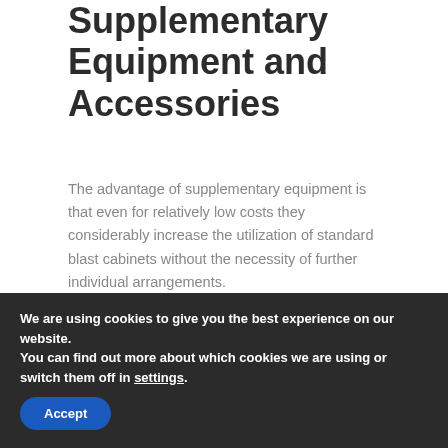Supplementary Equipment and Accessories
The advantage of supplementary equipment is that even for relatively low costs they considerably increase the utilization of standard blast cabinets without the necessity of further individual arrangements.
In addition, particular components of supplementary equipment can be combined in many ways, e. g. draw-through openings with turntable inserts, nozzle holder with
We are using cookies to give you the best experience on our website.
You can find out more about which cookies we are using or switch them off in settings.